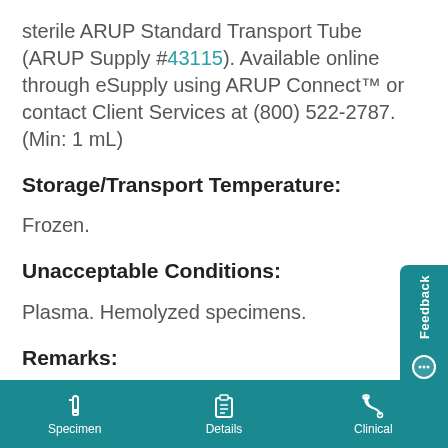sterile ARUP Standard Transport Tube (ARUP Supply #43115). Available online through eSupply using ARUP Connect™ or contact Client Services at (800) 522-2787. (Min: 1 mL)
Storage/Transport Temperature:
Frozen.
Unacceptable Conditions:
Plasma. Hemolyzed specimens.
Remarks:
Specimen   Details   Clinical